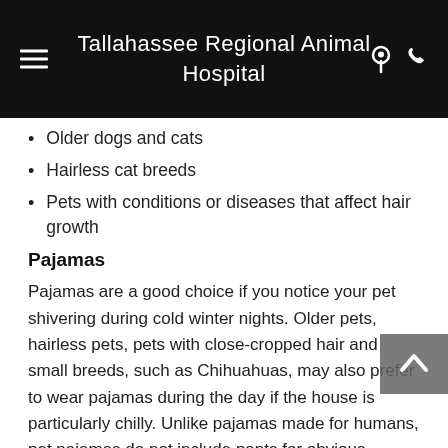Tallahassee Regional Animal Hospital
Older dogs and cats
Hairless cat breeds
Pets with conditions or diseases that affect hair growth
Pajamas
Pajamas are a good choice if you notice your pet shivering during cold winter nights. Older pets, hairless pets, pets with close-cropped hair and small breeds, such as Chihuahuas, may also prefer to wear pajamas during the day if the house is particularly chilly. Unlike pajamas made for humans, pet pajamas do not include pants for obvious reasons.